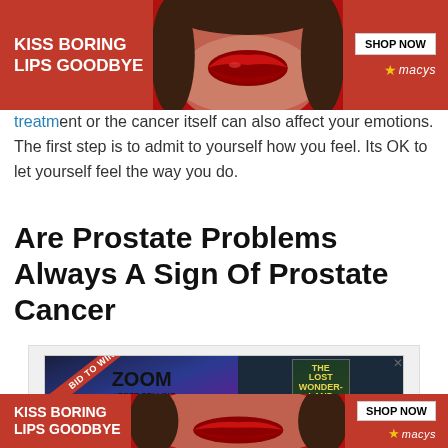[Figure (other): Macy's advertisement banner: 'KISS BORING LIPS GOODBYE' with lips image and SHOP NOW button with Macy's star logo on red background]
treatment or the cancer itself can also affect your emotions. The first step is to admit to yourself how you feel. Its OK to let yourself feel the way you do.
Are Prostate Problems Always A Sign Of Prostate Cancer
[Figure (other): Advertisement for Zoom call with best-selling author J. Scott featuring book 'The Lost Wonderland Diaries' with BID TO WIN banner and CLOSE button]
[Figure (other): Macy's advertisement banner at bottom: 'KISS BORING LIPS GOODBYE' with lips image and SHOP NOW button with Macy's star logo on red background]